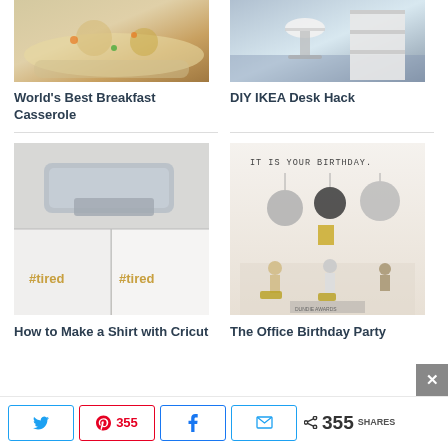[Figure (photo): Food photo showing World's Best Breakfast Casserole on a plate]
World's Best Breakfast Casserole
[Figure (photo): Photo of a DIY IKEA desk hack with white chair and shelving unit]
DIY IKEA Desk Hack
[Figure (photo): Photo showing Cricut machine and custom shirts with #tired text]
How to Make a Shirt with Cricut
[Figure (photo): Photo of The Office themed birthday party with 'IT IS YOUR BIRTHDAY.' banner and decorations]
The Office Birthday Party
355 SHARES (Twitter share, Pinterest 355, Facebook share, Email share)